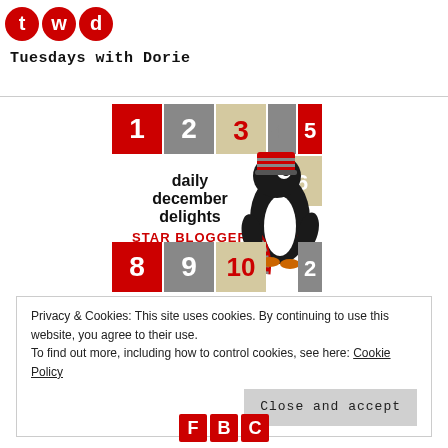Tuesdays with Dorie
[Figure (illustration): Daily December Delights Star Blogger badge with a penguin wearing a scarf and hat, numbered calendar squares showing 1,2,3,4,5,6,8,9,10,2]
Privacy & Cookies: This site uses cookies. By continuing to use this website, you agree to their use.
To find out more, including how to control cookies, see here: Cookie Policy
Close and accept